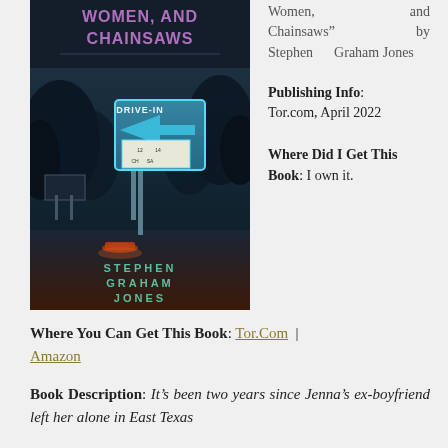[Figure (illustration): Book cover of a horror novella showing a dark night scene with a Drive-In movie sign, trees, and a car beneath a dark sky. The title 'Women, and Chainsaws' appears at the top in purple text, and the author name 'Stephen Graham Jones' appears at the bottom in teal/green text on a dark background.]
Women, and Chainsaws" by Stephen Graham Jones
Publishing Info: Tor.com, April 2022
Where Did I Get This Book: I own it.
Where You Can Get This Book: Tor.Com | Amazon
Book Description: It's been two years since Jenna's ex-boyfriend left her alone in East Texas